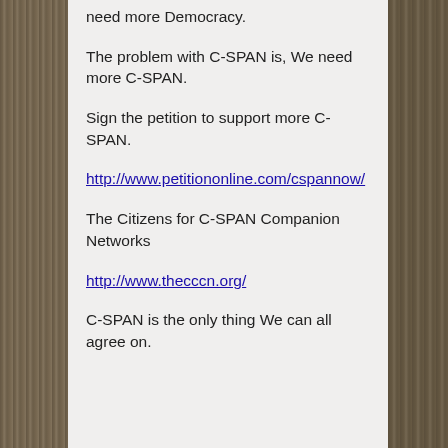need more Democracy.
The problem with C-SPAN is, We need more C-SPAN.
Sign the petition to support more C-SPAN.
http://www.petitiononline.com/cspannow/
The Citizens for C-SPAN Companion Networks
http://www.thecccn.org/
C-SPAN is the only thing We can all agree on.